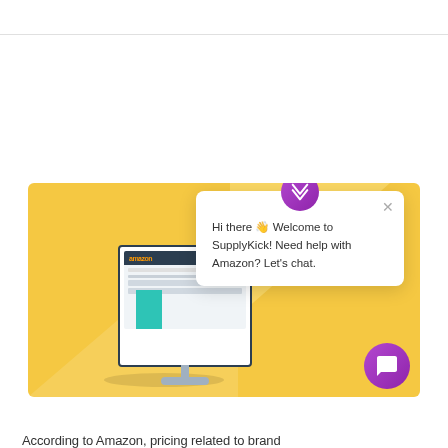[Figure (screenshot): A yellow-background illustration showing a computer monitor displaying an Amazon-like website, with a live chat popup overlay. The popup has a purple avatar with an 'X' icon, a close button, and text: 'Hi there Welcome to SupplyKick! Need help with Amazon? Let's chat.' A purple chat bubble button appears in the bottom-right corner of the illustration.]
According to Amazon, pricing related to brand